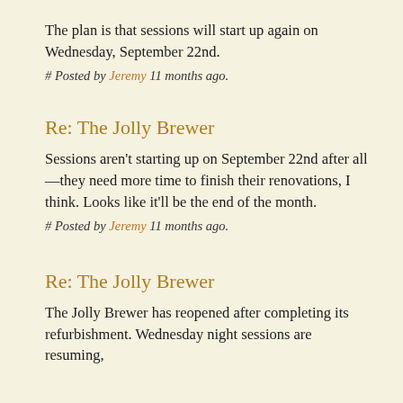The plan is that sessions will start up again on Wednesday, September 22nd.
# Posted by Jeremy 11 months ago.
Re: The Jolly Brewer
Sessions aren’t starting up on September 22nd after all—they need more time to finish their renovations, I think. Looks like it’ll be the end of the month.
# Posted by Jeremy 11 months ago.
Re: The Jolly Brewer
The Jolly Brewer has reopened after completing its refurbishment. Wednesday night sessions are resuming, starting from next week, October 27th…